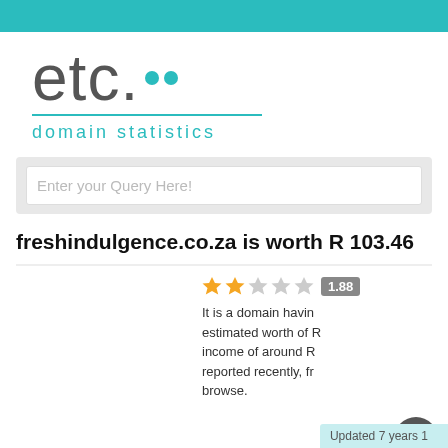[Figure (logo): etc... domain statistics logo with teal dots and teal underline and subtitle]
Enter your Query Here!
freshindulgence.co.za is worth R 103.46
1.88 star rating
It is a domain having estimated worth of R... income of around R... reported recently, fr... browse.
Updated 7 years 1...